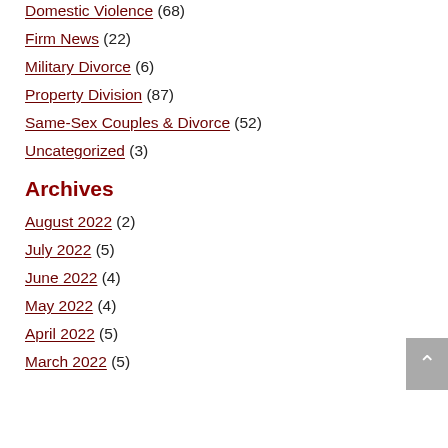Domestic Violence (68)
Firm News (22)
Military Divorce (6)
Property Division (87)
Same-Sex Couples & Divorce (52)
Uncategorized (3)
Archives
August 2022 (2)
July 2022 (5)
June 2022 (4)
May 2022 (4)
April 2022 (5)
March 2022 (5)